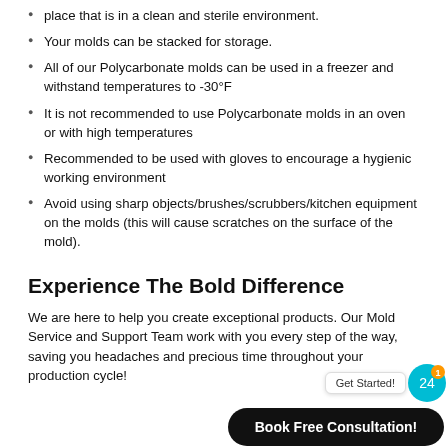place that is in a clean and sterile environment.
Your molds can be stacked for storage.
All of our Polycarbonate molds can be used in a freezer and withstand temperatures to -30°F
It is not recommended to use Polycarbonate molds in an oven or with high temperatures
Recommended to be used with gloves to encourage a hygienic working environment
Avoid using sharp objects/brushes/scrubbers/kitchen equipment on the molds (this will cause scratches on the surface of the mold).
Experience The Bold Difference
We are here to help you create exceptional products. Our Mold Service and Support Team work with you every step of the way, saving you headaches and precious time throughout your production cycle!